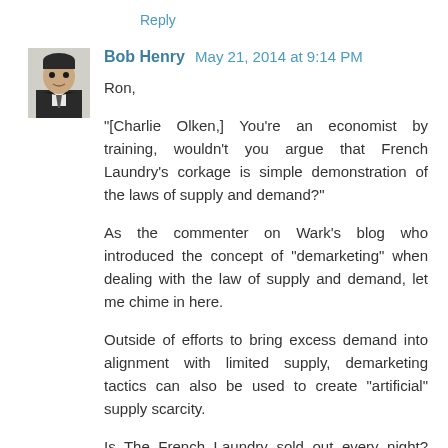Reply
[Figure (photo): Small avatar photo of Bob Henry, a person in a suit with a white shirt]
Bob Henry May 21, 2014 at 9:14 PM
Ron,

"[Charlie Olken,] You're an economist by training, wouldn't you argue that French Laundry's corkage is simple demonstration of the laws of supply and demand?"

As the commenter on Wark's blog who introduced the concept of "demarketing" when dealing with the law of supply and demand, let me chime in here.

Outside of efforts to bring excess demand into alignment with limited supply, demarketing tactics can also be used to create "artificial" supply scarcity.

Is The French Laundry sold out every night? Based on reports from Napa folks I trust, the answer is "no."

Do they create the impression they are? Again, based on